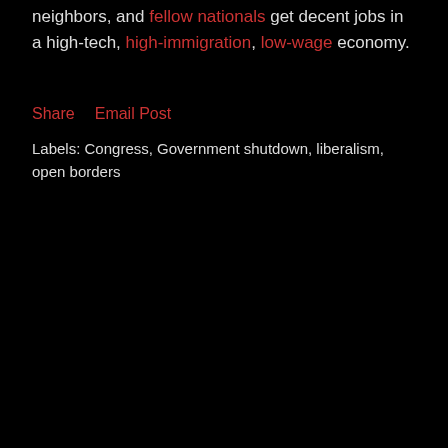neighbors, and fellow nationals get decent jobs in a high-tech, high-immigration, low-wage economy.
Share   Email Post
Labels: Congress, Government shutdown, liberalism, open borders